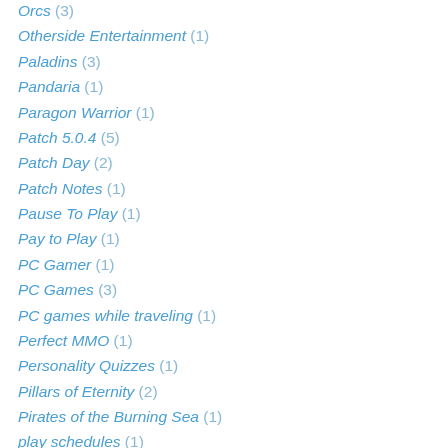Orcs (3)
Otherside Entertainment (1)
Paladins (3)
Pandaria (1)
Paragon Warrior (1)
Patch 5.0.4 (5)
Patch Day (2)
Patch Notes (1)
Pause To Play (1)
Pay to Play (1)
PC Gamer (1)
PC Games (3)
PC games while traveling (1)
Perfect MMO (1)
Personality Quizzes (1)
Pillars of Eternity (2)
Pirates of the Burning Sea (1)
play schedules (1)
Player Boredom (1)
Player Economies (1)